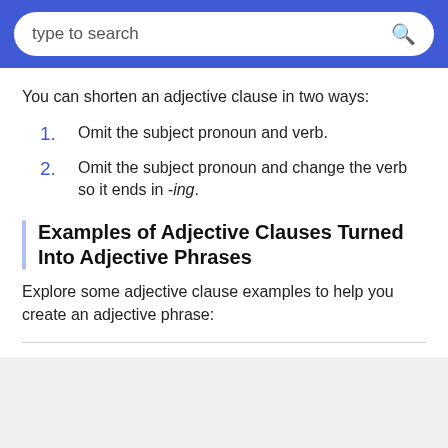type to search
You can shorten an adjective clause in two ways:
Omit the subject pronoun and verb.
Omit the subject pronoun and change the verb so it ends in -ing.
Examples of Adjective Clauses Turned Into Adjective Phrases
Explore some adjective clause examples to help you create an adjective phrase: